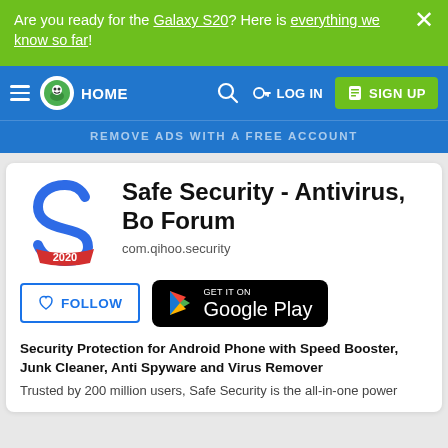Are you ready for the Galaxy S20? Here is everything we know so far!
[Figure (screenshot): Navigation bar with hamburger menu, logo, HOME text, search icon, LOG IN button, and SIGN UP button on blue background]
REMOVE ADS WITH A FREE ACCOUNT
[Figure (logo): Safe Security app logo - blue S with 2020 badge]
Safe Security - Antivirus, Bo Forum
com.qihoo.security
FOLLOW
GET IT ON Google Play
Security Protection for Android Phone with Speed Booster, Junk Cleaner, Anti Spyware and Virus Remover
Trusted by 200 million users, Safe Security is the all-in-one power